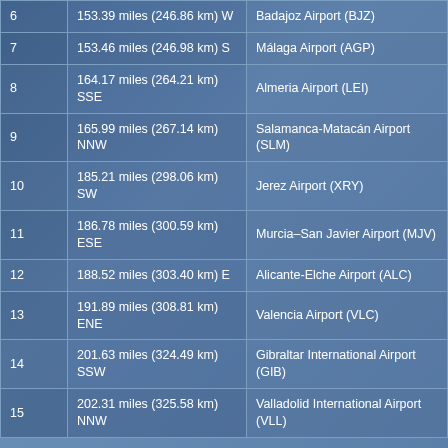| # | Distance & Direction | Airport |
| --- | --- | --- |
| 6 | 153.39 miles (246.86 km) W | Badajoz Airport (BJZ) |
| 7 | 153.46 miles (246.98 km) S | Málaga Airport (AGP) |
| 8 | 164.17 miles (264.21 km) SSE | Almeria Airport (LEI) |
| 9 | 165.99 miles (267.14 km) NNW | Salamanca-Matacán Airport (SLM) |
| 10 | 185.21 miles (298.06 km) SW | Jerez Airport (XRY) |
| 11 | 186.78 miles (300.59 km) ESE | Murcia–San Javier Airport (MJV) |
| 12 | 188.52 miles (303.40 km) E | Alicante-Elche Airport (ALC) |
| 13 | 191.89 miles (308.81 km) ENE | Valencia Airport (VLC) |
| 14 | 201.63 miles (324.49 km) SSW | Gibraltar International Airport (GIB) |
| 15 | 202.31 miles (325.58 km) NNW | Valladolid International Airport (VLL) |